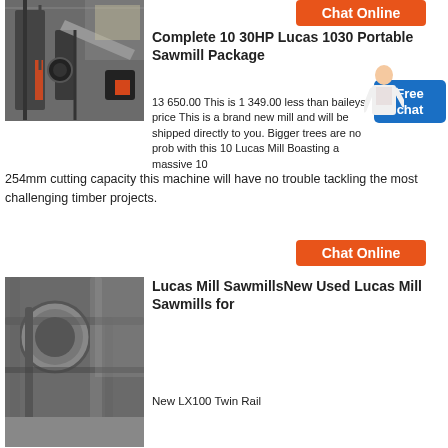[Figure (screenshot): Orange Chat Online button at top right]
[Figure (photo): Industrial sawmill machinery inside a large factory building]
Complete 10 30HP Lucas 1030 Portable Sawmill Package
13 650.00 This is 1 349.00 less than baileys price This is a brand new mill and will be shipped directly to you. Bigger trees are no problem with this 10 Lucas Mill Boasting a massive 10 254mm cutting capacity this machine will have no trouble tackling the most challenging timber projects.
[Figure (screenshot): Blue Free chat badge]
[Figure (screenshot): Orange Chat Online button in middle]
[Figure (photo): Industrial piping and machinery inside a factory building]
Lucas Mill SawmillsNew Used Lucas Mill Sawmills for
New LX100 Twin Rail